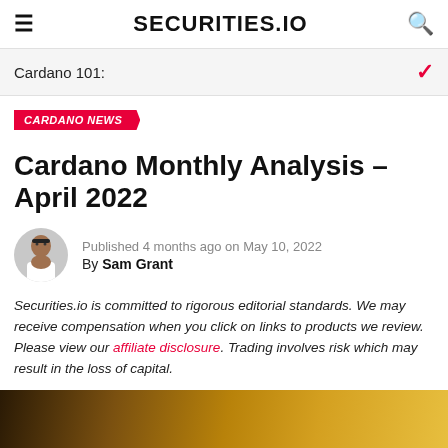SECURITIES.io
Cardano 101:
CARDANO NEWS
Cardano Monthly Analysis – April 2022
Published 4 months ago on May 10, 2022
By Sam Grant
Securities.io is committed to rigorous editorial standards. We may receive compensation when you click on links to products we review. Please view our affiliate disclosure. Trading involves risk which may result in the loss of capital.
[Figure (photo): Background photo showing blurred golden/yellow objects, likely financial related imagery]